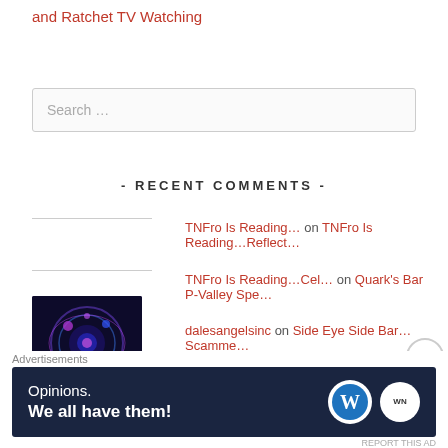and Ratchet TV Watching
Search …
- RECENT COMMENTS -
TNFro Is Reading… on TNFro Is Reading…Reflect…
TNFro Is Reading…Cel… on Quark's Bar P-Valley Spe…
dalesangelsinc on Side Eye Side Bar…Scamme…
Dave Buck on Side Eye Side Bar…Scamme…
[Figure (illustration): WordPress advertisement banner: 'Opinions. We all have them!' with WordPress and WN logos on dark navy background]
Advertisements